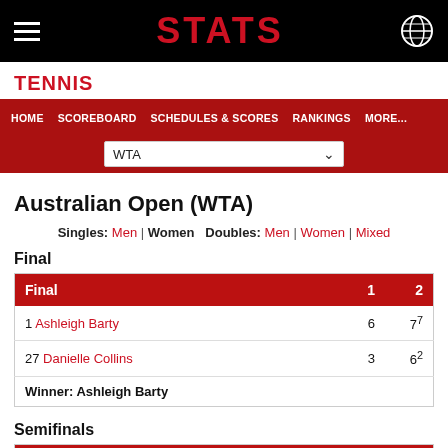STATS
TENNIS
Australian Open (WTA)
Singles: Men | Women   Doubles: Men | Women | Mixed
Final
| Final | 1 | 2 |
| --- | --- | --- |
| 1 Ashleigh Barty | 6 | 7⁷ |
| 27 Danielle Collins | 3 | 6² |
| Winner: Ashleigh Barty |  |  |
Semifinals
| Semifinals | 1 | 2 |
| --- | --- | --- |
| 1 Ashleigh Barty | 6 | 6 |